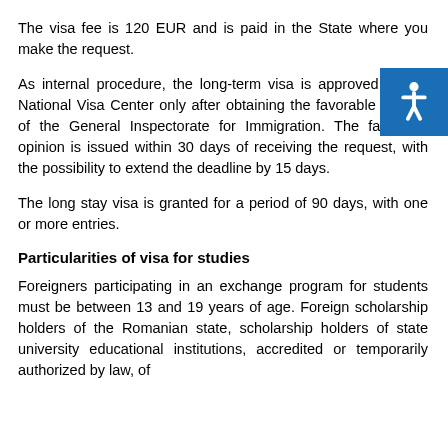The visa fee is 120 EUR and is paid in the State where you make the request.
As internal procedure, the long-term visa is approved by the National Visa Center only after obtaining the favorable opinion of the General Inspectorate for Immigration. The favorable opinion is issued within 30 days of receiving the request, with the possibility to extend the deadline by 15 days.
The long stay visa is granted for a period of 90 days, with one or more entries.
Particularities of visa for studies
Foreigners participating in an exchange program for students must be between 13 and 19 years of age. Foreign scholarship holders of the Romanian state, scholarship holders of state university educational institutions, accredited or temporarily authorized by law, of